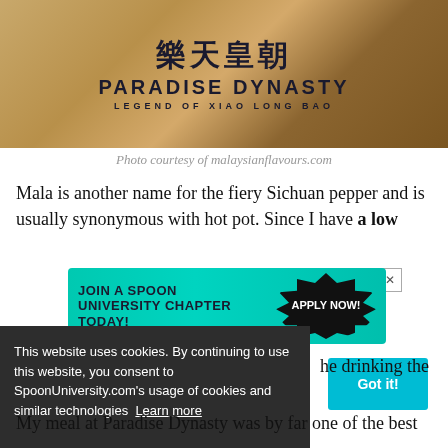[Figure (photo): Close-up photo of a restaurant branding on a surface showing Chinese characters and Paradise Dynasty logo with text 'Legend of Xiao Long Bao']
Photo courtesy of malaysianflavours.com
Mala is another name for the fiery Sichuan pepper and is usually synonymous with hot pot. Since I have a low
[Figure (screenshot): Advertisement banner for Spoon University: 'JOIN A SPOON UNIVERSITY CHAPTER TODAY!' with 'APPLY NOW!' button]
he drinking the
This website uses cookies. By continuing to use this website, you consent to SpoonUniversity.com's usage of cookies and similar technologies Learn more
Got it!
My meal at Paradise Dynasty was by far one of the best